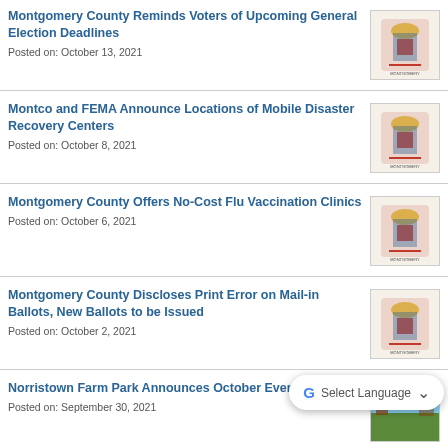Montgomery County Reminds Voters of Upcoming General Election Deadlines
Posted on: October 13, 2021
Montco and FEMA Announce Locations of Mobile Disaster Recovery Centers
Posted on: October 8, 2021
Montgomery County Offers No-Cost Flu Vaccination Clinics
Posted on: October 6, 2021
Montgomery County Discloses Print Error on Mail-in Ballots, New Ballots to be Issued
Posted on: October 2, 2021
Norristown Farm Park Announces October Events
Posted on: September 30, 2021